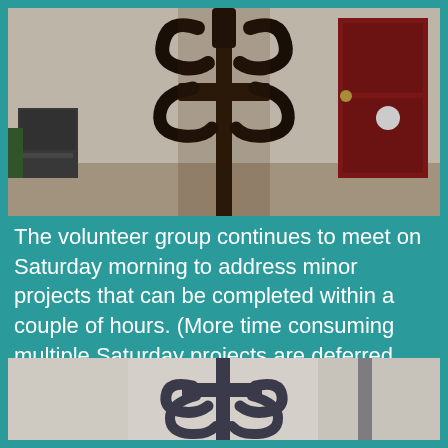[Figure (photo): Close-up photo of a rusty ornamental iron fleur-de-lis or decorative ironwork piece, with a red door and some appliances visible in the background.]
The volunteer group continues to meet on Saturday morning to address minor projects that can be completed within a couple of hours. (More time consuming multiple Saturday projects are deferred until after hurricane season.)
[Figure (photo): Close-up photo of the same or similar ornamental iron ironwork piece after cleaning/painting, showing the decorative scrollwork detail against a light background.]